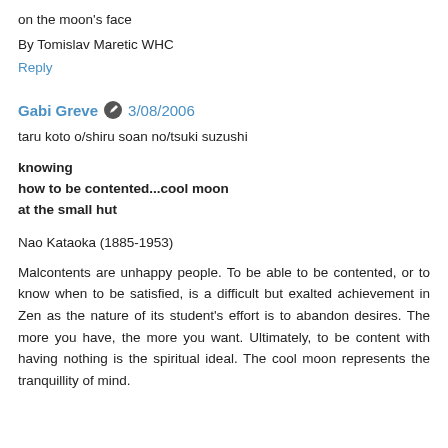on the moon's face
By Tomislav Maretic WHC
Reply
Gabi Greve 🖊 3/08/2006
taru koto o/shiru soan no/tsuki suzushi
knowing
how to be contented...cool moon
at the small hut
Nao Kataoka (1885-1953)
Malcontents are unhappy people. To be able to be contented, or to know when to be satisfied, is a difficult but exalted achievement in Zen as the nature of its student's effort is to abandon desires. The more you have, the more you want. Ultimately, to be content with having nothing is the spiritual ideal. The cool moon represents the tranquillity of mind.